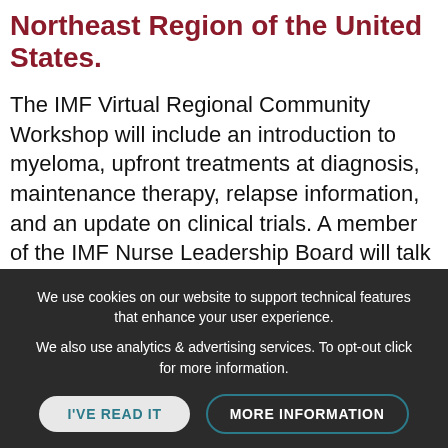Northeast Region of the United States.
The IMF Virtual Regional Community Workshop will include an introduction to myeloma, upfront treatments at diagnosis, maintenance therapy, relapse information, and an update on clinical trials. A member of the IMF Nurse Leadership Board will talk about managing side effects and symptoms of myeloma and its treatments. After each presentation with the
We use cookies on our website to support technical features that enhance your user experience.

We also use analytics & advertising services. To opt-out click for more information.